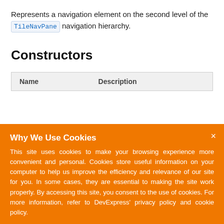Represents a navigation element on the second level of the TileNavPane navigation hierarchy.
Constructors
| Name | Description |
| --- | --- |
[Figure (screenshot): Cookie consent overlay with orange background. Title: 'Why We Use Cookies'. Body text about cookie usage policy. 'I UNDERSTAND' button with white border outline. Close (×) button in top right corner.]